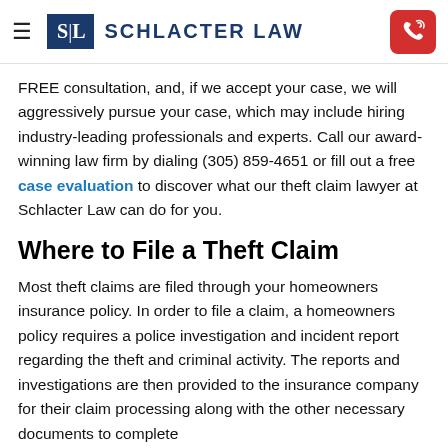SCHLACTER LAW
FREE consultation, and, if we accept your case, we will aggressively pursue your case, which may include hiring industry-leading professionals and experts. Call our award-winning law firm by dialing (305) 859-4651 or fill out a free case evaluation to discover what our theft claim lawyer at Schlacter Law can do for you.
Where to File a Theft Claim
Most theft claims are filed through your homeowners insurance policy. In order to file a claim, a homeowners policy requires a police investigation and incident report regarding the theft and criminal activity. The reports and investigations are then provided to the insurance company for their claim processing along with the other necessary documents to complete...